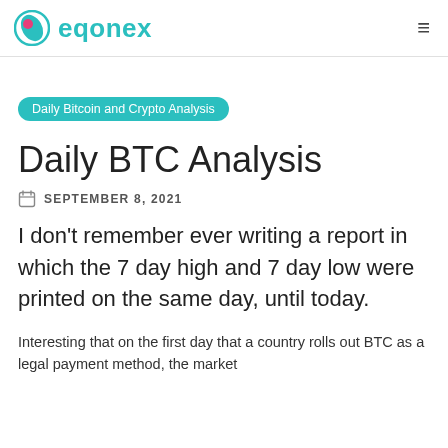eqonex
Daily Bitcoin and Crypto Analysis
Daily BTC Analysis
SEPTEMBER 8, 2021
I don't remember ever writing a report in which the 7 day high and 7 day low were printed on the same day, until today.
Interesting that on the first day that a country rolls out BTC as a legal payment method, the market